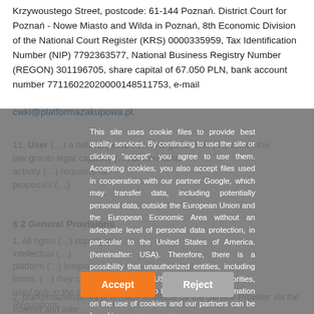Krzywoustego Street, postcode: 61-144 Poznań. District Court for Poznań - Nowe Miasto and Wilda in Poznań, 8th Economic Division of the National Court Register (KRS) 0000335959, Tax Identification Number (NIP) 7792363577, National Business Registry Number (REGON) 301196705, share capital of 67.050 PLN, bank account number 77116022020000148511753, e-mail cwki@platformazakupowa.pl.
11. User (…) a natural person or an organization (…) whom the law grants legal capacity (…) professional activity (…) requests for proposals (…)
§ 2 General Provisions
1. All rights (…) copyrights, intellectual (…) platform (…) templates, forms, (…) they can be used only in the manner specified in the Rules and Regulations.
2. platformazakupowa.pl is made available by the Service Provider via the Internet and informs customers about Wor…
This site uses cookie files to provide best quality services. By continuing to use the site or clicking "accept", you agree to use them. Accepting cookies, you also accept files used in cooperation with our partner Google, which may transfer data, including potentially personal data, outside the European Union and the European Economic Area without an adequate level of personal data protection, in particular to the United States of America. (hereinafter: USA). Therefore, there is a possibility that unauthorized entities, including in particular the US government authorities, may gain access to this data. More information on the use of cookies and our partners can be found in our privacy policy.